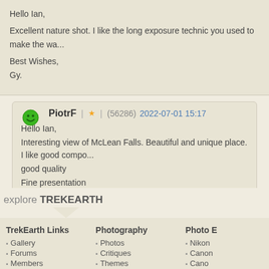Hello Ian,

Excellent nature shot. I like the long exposure technic you used to make the wa...

Best Wishes,
Gy.
PiotrF | (56286) 2022-07-01 15:17
Hello Ian,
Interesting view of McLean Falls. Beautiful and unique place. I like good compo... good quality
Fine presentation
Regards
Piotr
explore TREKEARTH
TrekEarth Links
Gallery
Forums
Members
Photography
Photos
Critiques
Themes
Photo E
Nikon
Canon
Cano